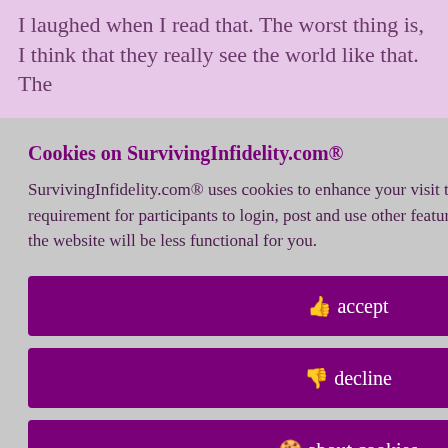I laughed when I read that. The worst thing is, I think that they really see the world like that. The
, composed
arrative.
fucks.
see that it is
id 8076432
d at
18
Policy
Cookies on SurvivingInfidelity.com®
SurvivingInfidelity.com® uses cookies to enhance your visit to our website. This is a requirement for participants to login, post and use other features. Visitors may opt out, but the website will be less functional for you.
accept
decline
about cookies